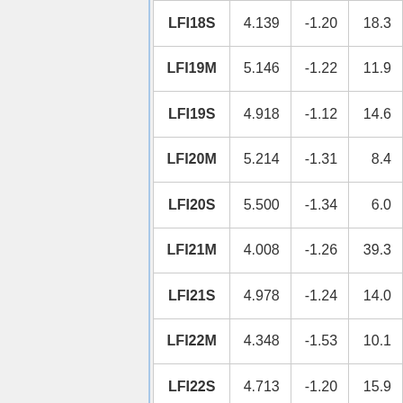| LFI18S | 4.139 | -1.20 | 18.3 |
| LFI19M | 5.146 | -1.22 | 11.9 |
| LFI19S | 4.918 | -1.12 | 14.6 |
| LFI20M | 5.214 | -1.31 | 8.4 |
| LFI20S | 5.500 | -1.34 | 6.0 |
| LFI21M | 4.008 | -1.26 | 39.3 |
| LFI21S | 4.978 | -1.24 | 14.0 |
| LFI22M | 4.348 | -1.53 | 10.1 |
| LFI22S | 4.713 | -1.20 | 15.9 |